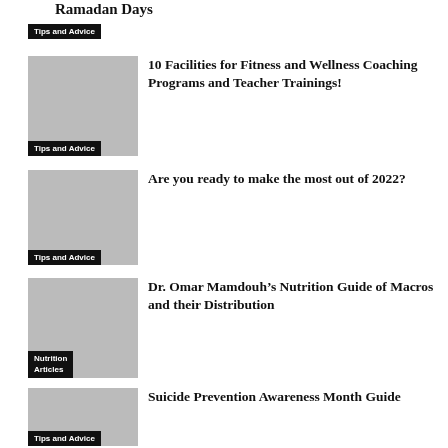Ramadan Days
Tips and Advice
10 Facilities for Fitness and Wellness Coaching Programs and Teacher Trainings!
Tips and Advice
Are you ready to make the most out of 2022?
Tips and Advice
Dr. Omar Mamdouh’s Nutrition Guide of Macros and their Distribution
Nutrition Articles
Suicide Prevention Awareness Month Guide
Tips and Advice